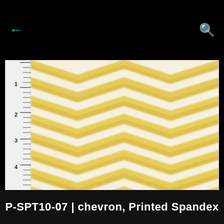← (back arrow) and search icon
[Figure (photo): Close-up photograph of yellow and white chevron zigzag printed spandex fabric with a ruler along the left edge showing measurements from 1 to 5 inches.]
P-SPT10-07 | chevron, Printed Spandex